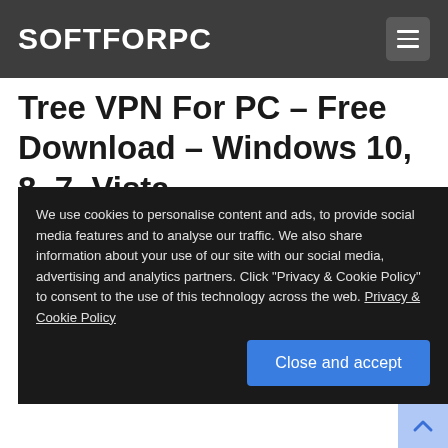SOFTFORPC
Tree VPN For PC – Free Download – Windows 10, 8, 7, Vista
We use cookies to personalise content and ads, to provide social media features and to analyse our traffic. We also share information about your use of our site with our social media, advertising and analytics partners. Click "Privacy & Cookie Policy" to consent to the use of this technology across the web. Privacy & Cookie Policy
Close and accept